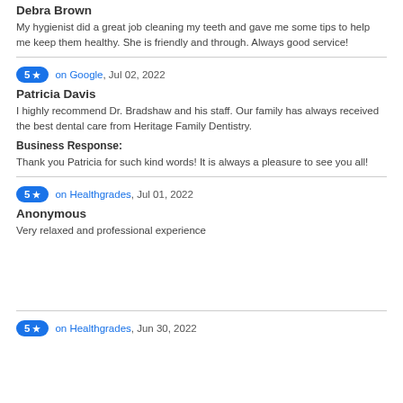Debra Brown
My hygienist did a great job cleaning my teeth and gave me some tips to help me keep them healthy. She is friendly and through. Always good service!
5 ★ on Google, Jul 02, 2022
Patricia Davis
I highly recommend Dr. Bradshaw and his staff. Our family has always received the best dental care from Heritage Family Dentistry.
Business Response:
Thank you Patricia for such kind words! It is always a pleasure to see you all!
5 ★ on Healthgrades, Jul 01, 2022
Anonymous
Very relaxed and professional experience
5 ★ on Healthgrades, Jun 30, 2022